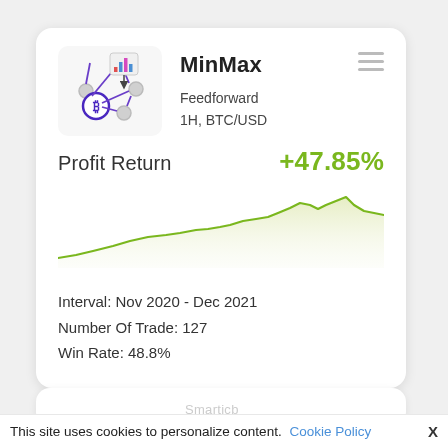[Figure (illustration): Neural network / algorithm icon with Bitcoin symbol and bar chart, interconnected nodes with purple lines]
MinMax
Feedforward
1H, BTC/USD
Profit Return
+47.85%
[Figure (area-chart): Area line chart showing profit return growth from Nov 2020 to Dec 2021, olive/green color, trending upward with peaks]
Interval: Nov 2020 - Dec 2021
Number Of Trade: 127
Win Rate: 48.8%
This site uses cookies to personalize content. Cookie Policy  X